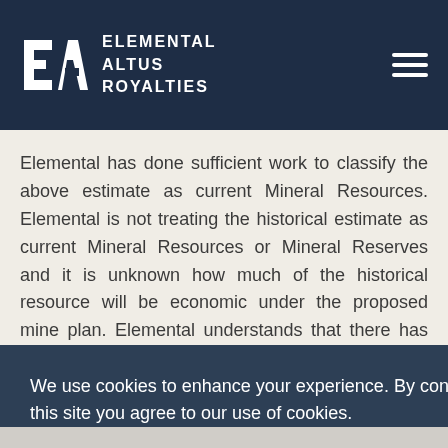ELEMENTAL ALTUS ROYALTIES
Elemental has done sufficient work to classify the above estimate as current Mineral Resources. Elemental is not treating the historical estimate as current Mineral Resources or Mineral Reserves and it is unknown how much of the historical resource will be economic under the proposed mine plan. Elemental understands that there has been no production from the area since the [text obscured]
We use cookies to enhance your experience. By continuing to visit this site you agree to our use of cookies.
Got it!